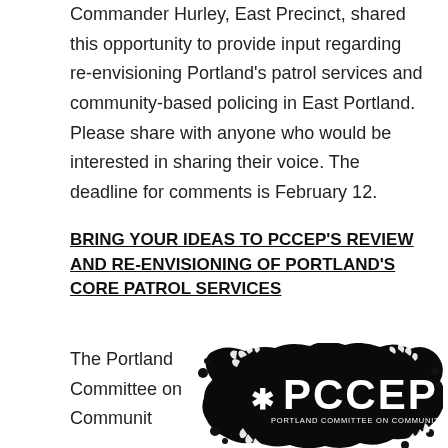Commander Hurley, East Precinct, shared this opportunity to provide input regarding re-envisioning Portland's patrol services and community-based policing in East Portland. Please share with anyone who would be interested in sharing their voice. The deadline for comments is February 12.
BRING YOUR IDEAS TO PCCEP'S REVIEW AND RE-ENVISIONING OF PORTLAND'S CORE PATROL SERVICES
The Portland Committee on Communit
[Figure (logo): PCCEP logo — black ink-splash background with white text reading 'PCCEP' in large letters and 'PORTLAND COMMITTEE ON COMMUNITY-ENGAGED POLICING' below in smaller text, with stylized hand illustrations around the edges.]